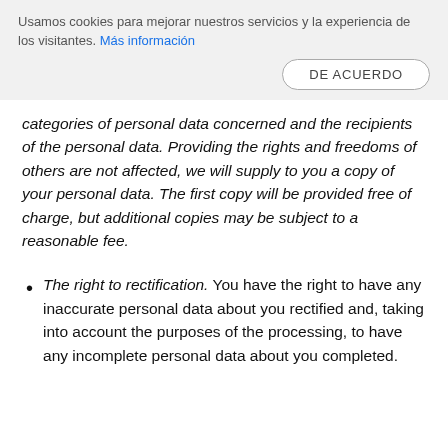Usamos cookies para mejorar nuestros servicios y la experiencia de los visitantes. Más información
DE ACUERDO
categories of personal data concerned and the recipients of the personal data. Providing the rights and freedoms of others are not affected, we will supply to you a copy of your personal data. The first copy will be provided free of charge, but additional copies may be subject to a reasonable fee.
The right to rectification. You have the right to have any inaccurate personal data about you rectified and, taking into account the purposes of the processing, to have any incomplete personal data about you completed.